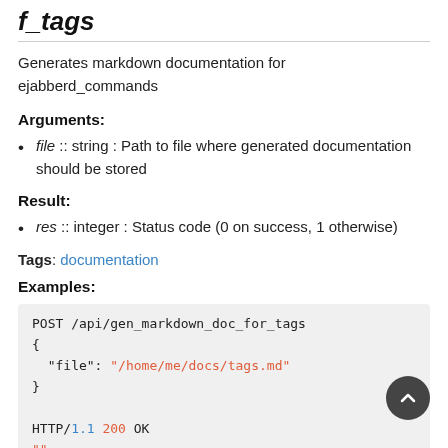f_tags
Generates markdown documentation for ejabberd_commands
Arguments:
file :: string : Path to file where generated documentation should be stored
Result:
res :: integer : Status code (0 on success, 1 otherwise)
Tags: documentation
Examples:
POST /api/gen_markdown_doc_for_tags
{
  "file": "/home/me/docs/tags.md"
}

HTTP/1.1 200 OK
""